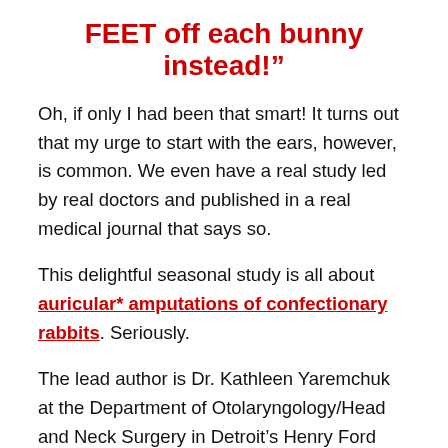FEET off each bunny instead!”
Oh, if only I had been that smart! It turns out that my urge to start with the ears, however, is common. We even have a real study led by real doctors and published in a real medical journal that says so.
This delightful seasonal study is all about auricular* amputations of confectionary rabbits. Seriously.
The lead author is Dr. Kathleen Yaremchuk at the Department of Otolaryngology/Head and Neck Surgery in Detroit’s Henry Ford Hospital. She and her team at HFH reported this:
“A statistically significant increase in mention of rabbit auricular amputations occurred during the spring. Mapping